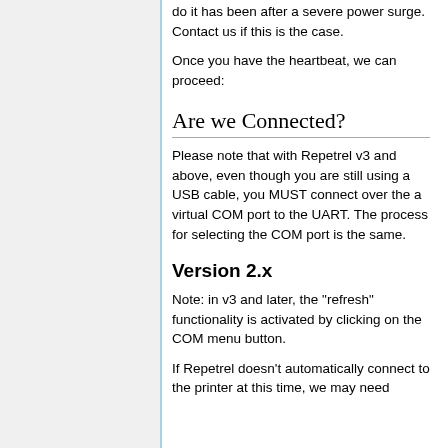do it has been after a severe power surge. Contact us if this is the case.
Once you have the heartbeat, we can proceed:
Are we Connected?
Please note that with Repetrel v3 and above, even though you are still using a USB cable, you MUST connect over the a virtual COM port to the UART. The process for selecting the COM port is the same.
Version 2.x
Note: in v3 and later, the "refresh" functionality is activated by clicking on the COM menu button.
If Repetrel doesn't automatically connect to the printer at this time, we may need